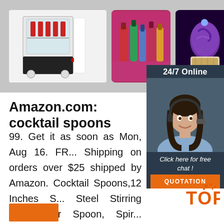[Figure (photo): Top banner showing a commercial beverage refrigerator on the left, colorful glass bottles on a pink background in the center, and a purple cupcake on the right]
[Figure (photo): Chat widget overlay showing a woman with headset, '24/7 Online' header, 'Click here for free chat!' text, and an orange QUOTATION button, plus a TOP badge below]
Amazon.com: cocktail spoons
99. Get it as soon as Mon, Aug 16. FR... Shipping on orders over $25 shipped by Amazon. Cocktail Spoons,12 Inches S... Steel Stirring Spoons,Bar Spoon, Spir... Bar Spoon, Long Handle Spoon Cocktail Spoon Pitcher Spoon for Layering Blending Stirring,all Liquids (1 Piece) 4.8 out of 5 stars.